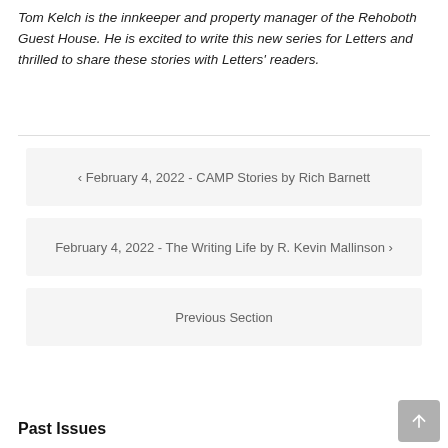Tom Kelch is the innkeeper and property manager of the Rehoboth Guest House. He is excited to write this new series for Letters and thrilled to share these stories with Letters' readers.
‹ February 4, 2022 - CAMP Stories by Rich Barnett
February 4, 2022 - The Writing Life by R. Kevin Mallinson ›
Previous Section
Past Issues